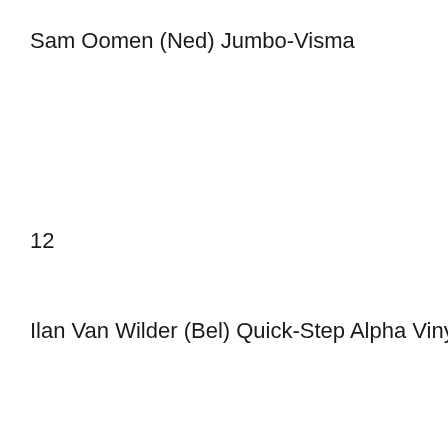Sam Oomen (Ned) Jumbo-Visma
12
Ilan Van Wilder (Bel) Quick-Step Alpha Vinyl Team